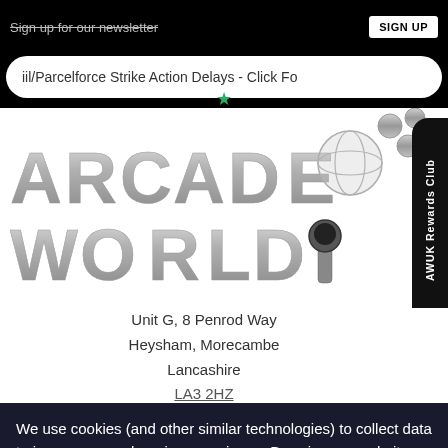Sign up for our newsletter | SIGN UP
iil/Parcelforce Strike Action Delays - Click Fo
[Figure (logo): Arcade World UK logo with grey metallic 3D lettering reading ARCADE WORLDU, with a globe, joystick, and silver buttons]
AWUK Rewards Club
Unit G, 8 Penrod Way
Heysham, Morecambe
Lancashire
LA3 2HZ
We use cookies (and other similar technologies) to collect data to improve your shopping experience. By using our website, you're agreeing to the collection of data as des...
[Figure (other): PayPal button - blue gradient rounded rectangle with white P logo]